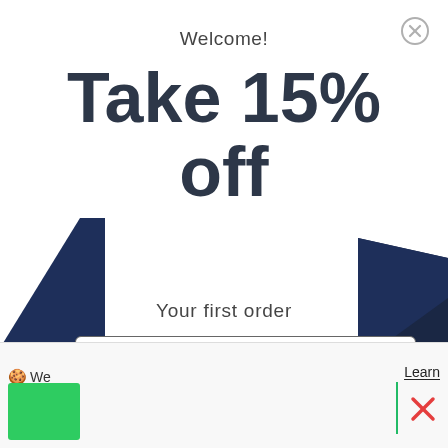[Figure (screenshot): Close/dismiss button (X circle) in top right of modal]
[Figure (photo): Dark navy blue product (sock/apparel) in left background]
[Figure (photo): Dark navy blue product (sock/apparel) in right background]
Welcome!
Take 15% off
Your first order
Email
Get Code
No Thanks
We
Learn